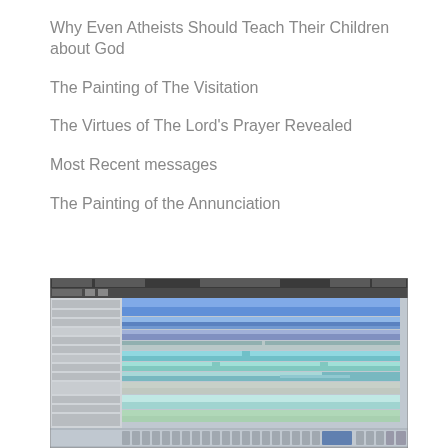Why Even Atheists Should Teach Their Children about God
The Painting of The Visitation
The Virtues of The Lord's Prayer Revealed
Most Recent messages
The Painting of the Annunciation
[Figure (screenshot): Screenshot of a digital audio workstation (DAW) software showing multiple audio tracks with blue and teal colored regions, a mixer section at the bottom, and a track list on the left side.]